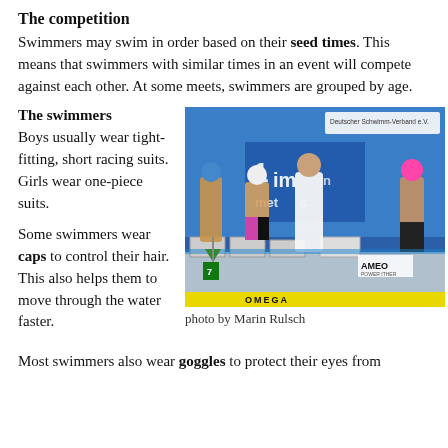The competition
Swimmers may swim in order based on their seed times. This means that swimmers with similar times in an event will compete against each other. At some meets, swimmers are grouped by age.
The swimmers
Boys usually wear tight-fitting, short racing suits. Girls wear one-piece suits.
[Figure (photo): Swimmers and official standing at the starting blocks of a swimming competition pool. A sign reading 'Deutscher Schwimm-Verband e.V.' is visible in the background. Sponsors including AMEO and OMEGA are visible.]
photo by Marin Rulsch
Some swimmers wear caps to control their hair. This also helps them to move through the water faster.
Most swimmers also wear goggles to protect their eyes from